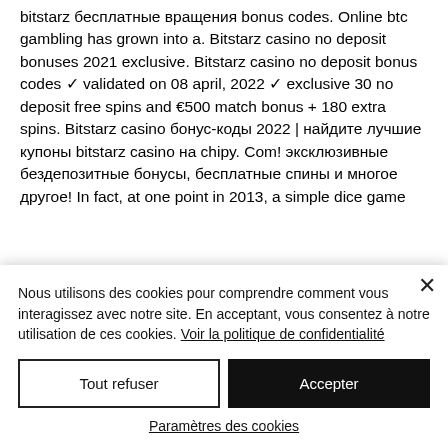bitstarz бесплатные вращения bonus codes. Online btc gambling has grown into a. Bitstarz casino no deposit bonuses 2021 exclusive. Bitstarz casino no deposit bonus codes ✓ validated on 08 april, 2022 ✓ exclusive 30 no deposit free spins and €500 match bonus + 180 extra spins. Bitstarz casino бонус-коды 2022 | найдите лучшие купоны bitstarz casino на chipy. Com! эксклюзивные бездепозитные бонусы, бесплатные спины и многое другое! In fact, at one point in 2013, a simple dice game
Nous utilisons des cookies pour comprendre comment vous interagissez avec notre site. En acceptant, vous consentez à notre utilisation de ces cookies. Voir la politique de confidentialité
Tout refuser
Accepter
Paramètres des cookies